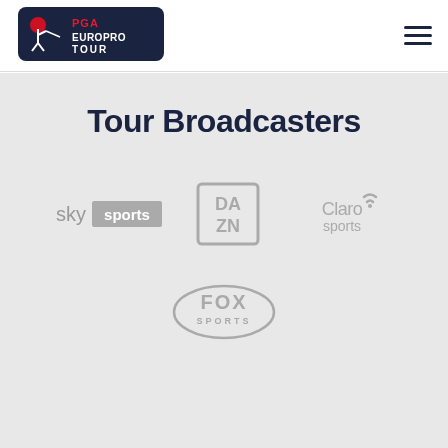[Figure (logo): PGA EuroPro Tour logo - white golfer silhouette on dark navy background with red PGA text and white EUROPRO TOUR text]
[Figure (other): Hamburger menu icon with three horizontal lines]
Tour Broadcasters
[Figure (logo): Sky Sports logo in grey - 'sky' text followed by 'sports' in a grey rectangle]
[Figure (logo): DAZN logo in grey - bold DA ZN letters in a rectangular box outline]
[Figure (logo): Claro sports logo in grey - Claro with a signal icon and 'sports' below]
[Figure (logo): Fox Sports logo in grey - FOX SPORTS text in an oval outline]